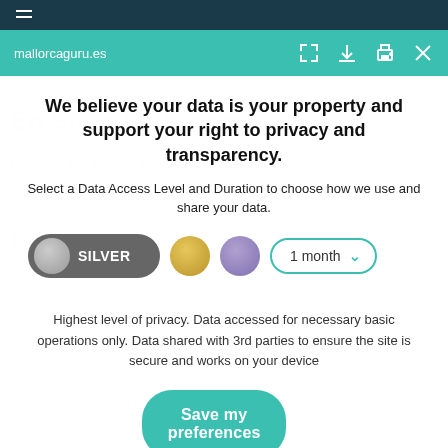mallorcaguru.es
We believe your data is your property and support your right to privacy and transparency.
Select a Data Access Level and Duration to choose how we use and share your data.
SILVER  [gold circle]  [purple circle]  1 month
Highest level of privacy. Data accessed for necessary basic operations only. Data shared with 3rd parties to ensure the site is secure and works on your device
Save my preferences
Customize  Privacy policy